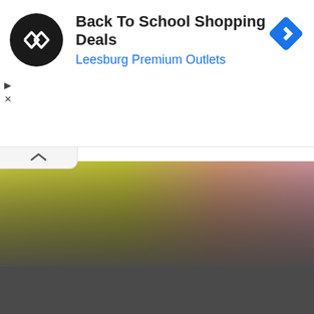[Figure (screenshot): Ad banner with circular black logo containing infinity/arrow symbol, title 'Back To School Shopping Deals', subtitle 'Leesburg Premium Outlets' in blue, and a blue diamond navigation icon on the right. Small play and close controls at left. Below the ad: a collapsed browser tab with up-arrow chevron, a gradient area transitioning from yellow-green to pink/mauve, and a dark gray area below.]
Back To School Shopping Deals
Leesburg Premium Outlets